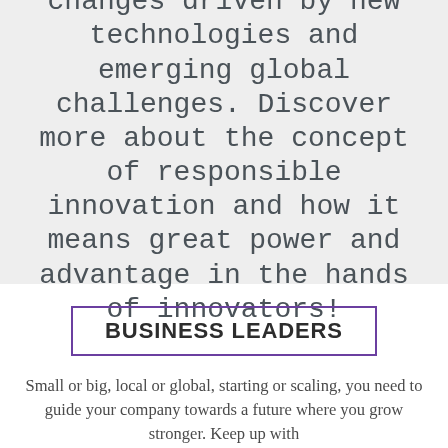and major economic changes driven by new technologies and emerging global challenges. Discover more about the concept of responsible innovation and how it means great power and advantage in the hands of innovators!
BUSINESS LEADERS
Small or big, local or global, starting or scaling, you need to guide your company towards a future where you grow stronger. Keep up with